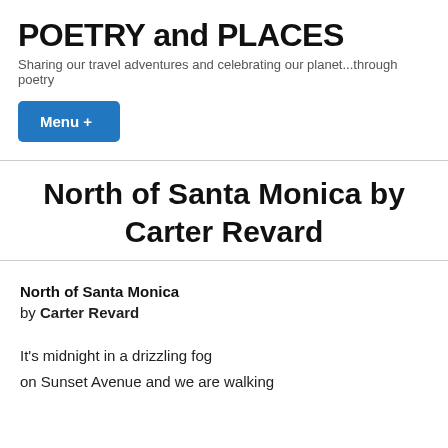POETRY and PLACES
Sharing our travel adventures and celebrating our planet...through poetry
Menu +
North of Santa Monica by Carter Revard
North of Santa Monica
by Carter Revard
It's midnight in a drizzling fog
on Sunset Avenue and we are walking